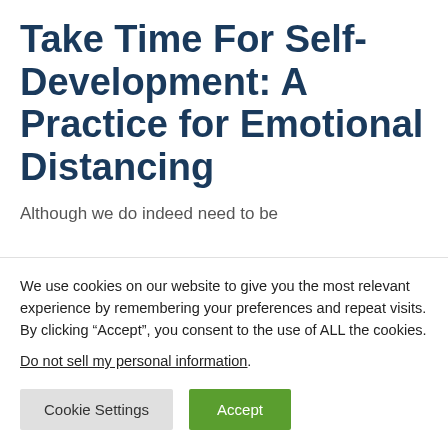Take Time For Self-Development: A Practice for Emotional Distancing
Although we do indeed need to be
We use cookies on our website to give you the most relevant experience by remembering your preferences and repeat visits. By clicking “Accept”, you consent to the use of ALL the cookies. Do not sell my personal information.